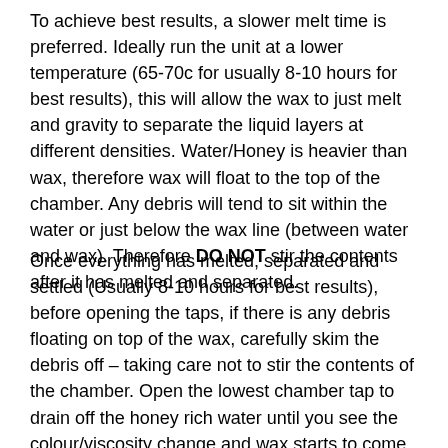To achieve best results, a slower melt time is preferred. Ideally run the unit at a lower temperature (65-70c for usually 8-10 hours for best results), this will allow the wax to just melt and gravity to separate the liquid layers at different densities. Water/Honey is heavier than wax, therefore wax will float to the top of the chamber. Any debris will tend to sit within the water or just below the wax line (between water and wax). Therefore DO NOT stir the contents after it has melted and separated.
Once everything has melted, separated and settled (Usually 8-10 hours for best results), before opening the taps, if there is any debris floating on top of the wax, carefully skim the debris off – taking care not to stir the contents of the chamber. Open the lowest chamber tap to drain off the honey rich water until you see the colour/viscosity change and wax starts to come out, close the bottom tap, the wax line should now be below the top chamber taps. Allow the contents that has just been drained too cool, any wax will solidify on top, this wax can be